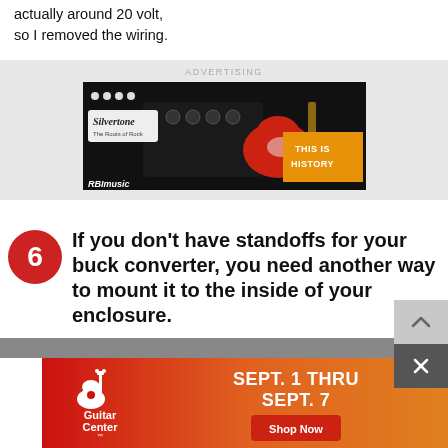actually around 20 volt, so I removed the wiring.
[Figure (illustration): Silvertone 'The Roots of Rock' guitar amp advertisement banner with guitar and text 'THIS IS HISTORY', RBImusic]
6 If you don't have standoffs for your buck converter, you need another way to mount it to the inside of your enclosure.
[Figure (illustration): Guitar Center advertisement: SEPT. 1 THRU SEPT. 7, Shop Now button, orange-red gradient background with Guitar Center logo]